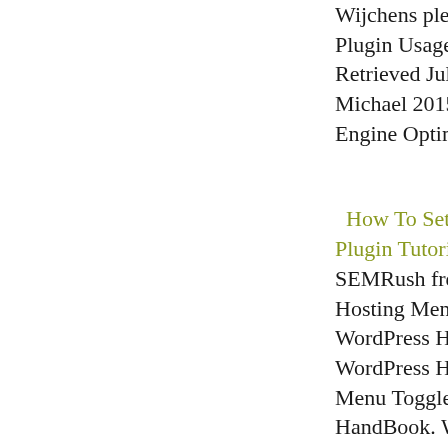Wijchens plein over." Yoast Plugin Usage Statistics." Retrieved July 2, 2018. Dav Michael 2015. WordPress S Engine Optimization.
How To Set Up Yoast SEO Plugin Tutorial. SEMRush free trial. Best W Hosting Menu Toggle. Che WordPress Hosting. Manag WordPress Hosting. Downl Menu Toggle. Google AdSe HandBook. WordPress Hos Book. SEO Menu Toggle. Keyword research Guide. C Rank Tracker. On page SEO ShoutMeLoud WordPress P How To Set Up Yoast SEO Plugin Tutorial. How To Se Yoast SEO Plugin Tutorial. March 11, 2022 June 18, 20 Harsh Agrawal 8 minutes re